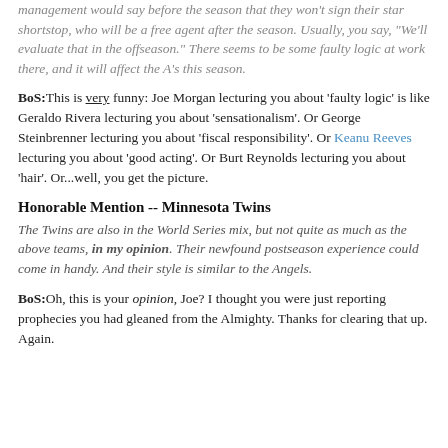management would say before the season that they won't sign their star shortstop, who will be a free agent after the season. Usually, you say, "We'll evaluate that in the offseason." There seems to be some faulty logic at work there, and it will affect the A's this season.
BoS: This is very funny: Joe Morgan lecturing you about 'faulty logic' is like Geraldo Rivera lecturing you about 'sensationalism'. Or George Steinbrenner lecturing you about 'fiscal responsibility'. Or Keanu Reeves lecturing you about 'good acting'. Or Burt Reynolds lecturing you about 'hair'. Or...well, you get the picture.
Honorable Mention -- Minnesota Twins
The Twins are also in the World Series mix, but not quite as much as the above teams, in my opinion. Their newfound postseason experience could come in handy. And their style is similar to the Angels.
BoS: Oh, this is your opinion, Joe? I thought you were just reporting prophecies you had gleaned from the Almighty. Thanks for clearing that up. Again.